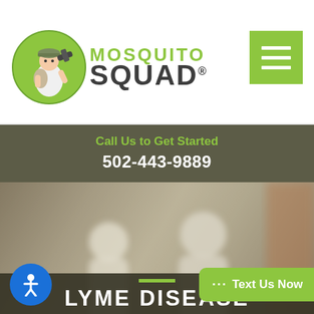[Figure (logo): Mosquito Squad logo: cartoon soldier with sprayer in green circle, with MOSQUITO SQUAD text in green and dark grey]
[Figure (other): Hamburger menu button in olive green with three white horizontal lines]
Call Us to Get Started
502-443-9889
[Figure (photo): Blurred outdoor photo showing two people in white uniforms/protective gear, likely Mosquito Squad technicians]
LYME DISEASE